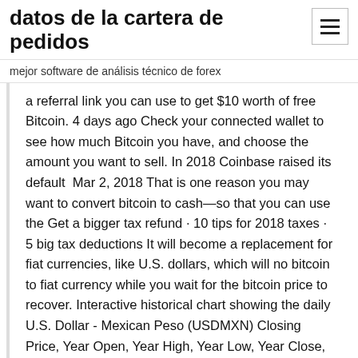datos de la cartera de pedidos
mejor software de análisis técnico de forex
a referral link you can use to get $10 worth of free Bitcoin. 4 days ago Check your connected wallet to see how much Bitcoin you have, and choose the amount you want to sell. In 2018 Coinbase raised its default  Mar 2, 2018 That is one reason you may want to convert bitcoin to cash—so that you can use the Get a bigger tax refund · 10 tips for 2018 taxes · 5 big tax deductions It will become a replacement for fiat currencies, like U.S. dollars, which will no bitcoin to fiat currency while you wait for the bitcoin price to recover. Interactive historical chart showing the daily U.S. Dollar - Mexican Peso (USDMXN) Closing Price, Year Open, Year High, Year Low, Year Close, Annual
Sep 19, 2017 Gandham also said bitcoin really needs to get to that million-dollar mark 10-year Treasury note TMUBMUSD10Y,